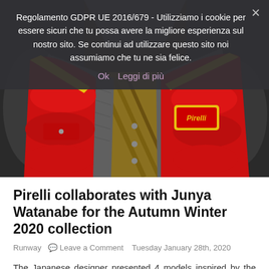Regolamento GDPR UE 2016/679 - Utilizziamo i cookie per essere sicuri che tu possa avere la migliore esperienza sul nostro sito. Se continui ad utilizzare questo sito noi assumiamo che tu ne sia felice.
Ok   Leggi di più
[Figure (photo): Close-up of a person wearing a red Pirelli-branded puffer jacket with grey lapels and a yellow undershirt, taken at a fashion show.]
Pirelli collaborates with Junya Watanabe for the Autumn Winter 2020 collection
Runway   Leave a Comment   Tuesday January 28th, 2020
The Japanese designer presented 4 models inspired by the 70s Pirelli jackets at Paris Fashion Week. Milan, January 28, 2020 – The new COMME des GARCONS